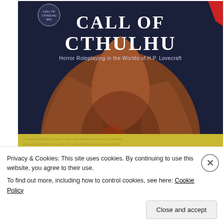[Figure (illustration): Call of Cthulhu book cover — dark blue background with large tentacled creature, title text 'Call of Cthulhu' in white stylized font, subtitle 'Horror Roleplaying in the Worlds of H.P. Lovecraft', authors 'Sandy Petersen & Lynn Willis', Chaosium logo bottom right]
[Figure (illustration): Basic RolePlaying book cover — yellow/parchment background with title text 'Basic RolePlaying' in bold serif font, subtitle 'The Chaosium Roleplaying System', faint illustrated figures in background]
Privacy & Cookies: This site uses cookies. By continuing to use this website, you agree to their use.
To find out more, including how to control cookies, see here: Cookie Policy